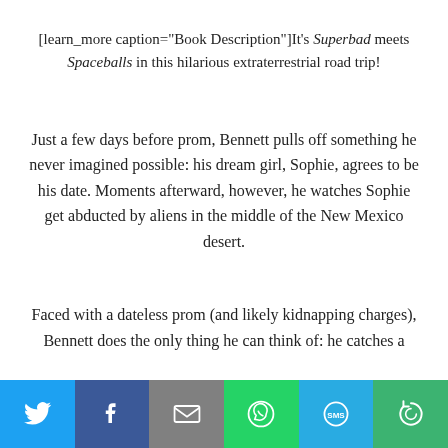[learn_more caption="Book Description"]It's Superbad meets Spaceballs in this hilarious extraterrestrial road trip!
Just a few days before prom, Bennett pulls off something he never imagined possible: his dream girl, Sophie, agrees to be his date. Moments afterward, however, he watches Sophie get abducted by aliens in the middle of the New Mexico desert.
Faced with a dateless prom (and likely kidnapping charges), Bennett does the only thing he can think of: he catches a
[Figure (infographic): Social sharing bar with six buttons: Twitter (blue bird icon), Facebook (dark blue f icon), Email (gray envelope icon), WhatsApp (green phone icon), SMS (blue SMS bubble icon), More (green circular arrows icon)]